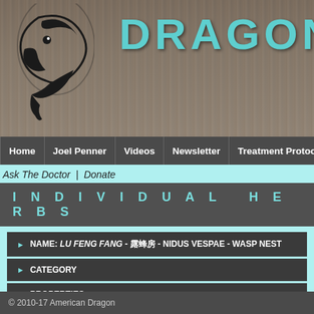[Figure (screenshot): American Dragon website header with wood-grain background texture and teal 'DRAGON' logo text, with decorative dragon logo on left]
Home | Joel Penner | Videos | Newsletter | Treatment Protocols | Tu
Ask The Doctor | Donate
INDIVIDUAL HERBS
NAME: LU FENG FANG - 露蜂房 - NIDUS VESPAE - WASP NEST
CATEGORY
PROPERTIES
ACTIONS AND INDICATIONS
CONTRAINDICATIONS, INCOMPATIBILITIES AND HERB/DRUG
MAJOR COMBINATIONS
NOTES
© 2010-17 American Dragon